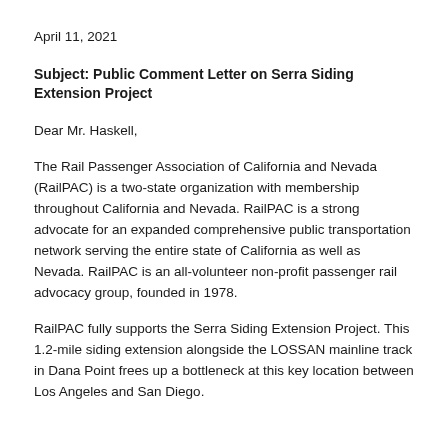April 11, 2021
Subject: Public Comment Letter on Serra Siding Extension Project
Dear Mr. Haskell,
The Rail Passenger Association of California and Nevada (RailPAC) is a two-state organization with membership throughout California and Nevada. RailPAC is a strong advocate for an expanded comprehensive public transportation network serving the entire state of California as well as Nevada. RailPAC is an all-volunteer non-profit passenger rail advocacy group, founded in 1978.
RailPAC fully supports the Serra Siding Extension Project. This 1.2-mile siding extension alongside the LOSSAN mainline track in Dana Point frees up a bottleneck at this key location between Los Angeles and San Diego.